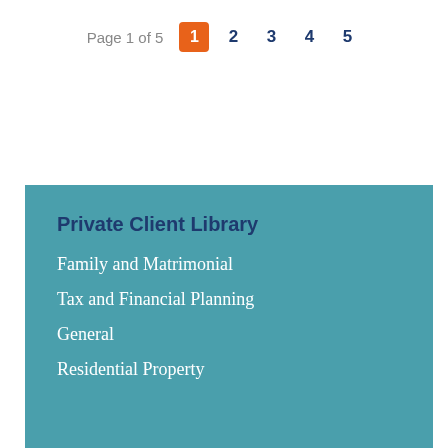Page 1 of 5  1  2  3  4  5
Private Client Library
Family and Matrimonial
Tax and Financial Planning
General
Residential Property